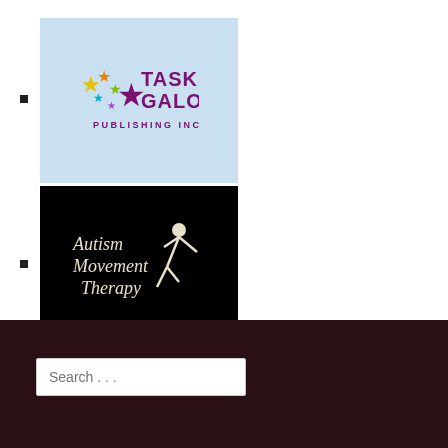[Figure (logo): Tasks Galore Publishing Inc. logo on light blue background with colorful stars]
[Figure (logo): Autism Movement Therapy logo in italic text with figure on black background]
Search ...